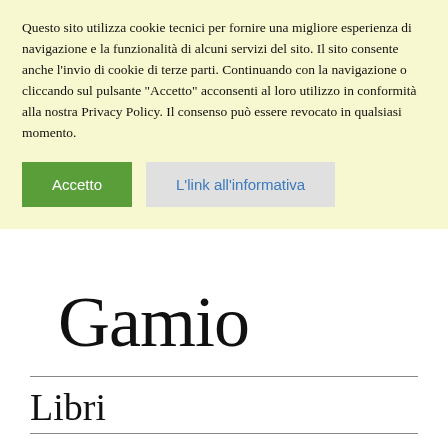Questo sito utilizza cookie tecnici per fornire una migliore esperienza di navigazione e la funzionalità di alcuni servizi del sito. Il sito consente anche l'invio di cookie di terze parti. Continuando con la navigazione o cliccando sul pulsante "Accetto" acconsenti al loro utilizzo in conformità alla nostra Privacy Policy. Il consenso può essere revocato in qualsiasi momento.
Accetto | L'link all'informativa
Gamio
Libri
Titolo / ISBN / Prezzo / Novità / Imposta Ordine Ascendente